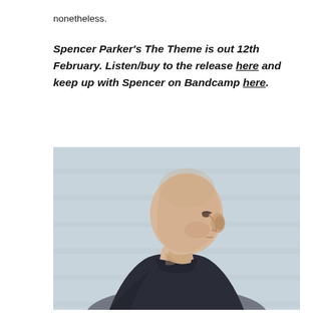nonetheless.
Spencer Parker's The Theme is out 12th February. Listen/buy to the release here and keep up with Spencer on Bandcamp here.
[Figure (photo): Side profile portrait of a bald man in a dark shirt against a light grey wall background, looking upward to the right.]